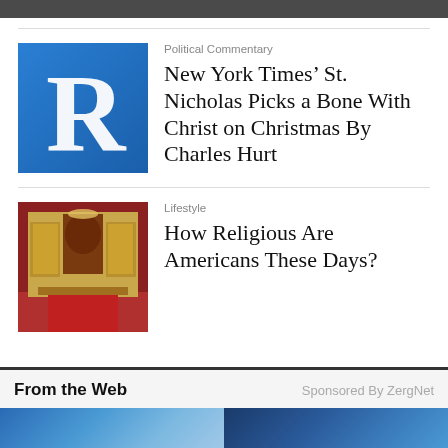[Figure (logo): Blue square logo with white serif letter R]
Political Commentary
New York Times' St. Nicholas Picks a Bone With Christ on Christmas By Charles Hurt
[Figure (photo): Interior of an ornate Orthodox church with golden iconostasis and red carpet]
Lifestyle
How Religious Are Americans These Days?
From the Web
Sponsored By ZergNet